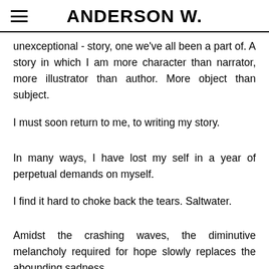ANDERSON W.
unexceptional - story, one we've all been a part of. A story in which I am more character than narrator, more illustrator than author. More object than subject.
I must soon return to me, to writing my story.
In many ways, I have lost my self in a year of perpetual demands on myself.
I find it hard to choke back the tears. Saltwater.
Amidst the crashing waves, the diminutive melancholy required for hope slowly replaces the abounding sadness